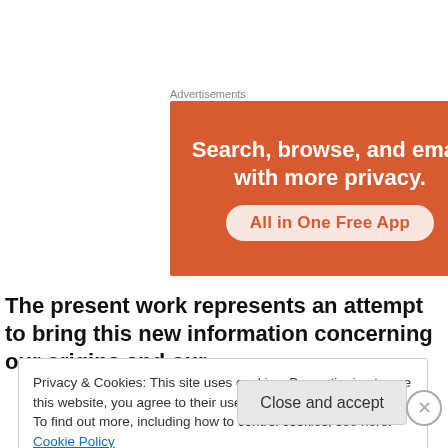Advertisements
[Figure (illustration): Orange advertisement banner reading 'Search, browse, and email with more privacy. All in One Free App']
The present work represents an attempt to bring this new information concerning our origins and our
Privacy & Cookies: This site uses cookies. By continuing to use this website, you agree to their use.
To find out more, including how to control cookies, see here: Cookie Policy
Close and accept